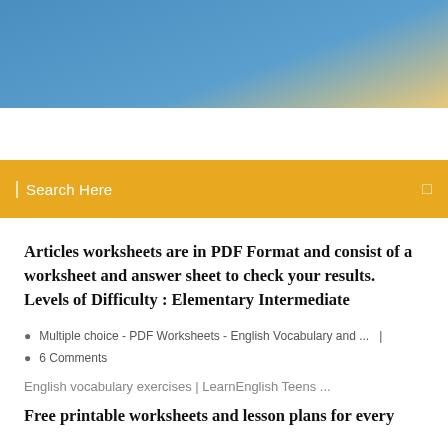[Figure (photo): Blue sky header image with gradient from steel blue to light blue, partial golden/yellow accent at top right corner]
Search Here
Articles worksheets are in PDF Format and consist of a worksheet and answer sheet to check your results. Levels of Difficulty : Elementary Intermediate
Multiple choice - PDF Worksheets - English Vocabulary and ...  |  6 Comments
English vocabulary exercises | LearnEnglish Teens ...
Free printable worksheets and lesson plans for every